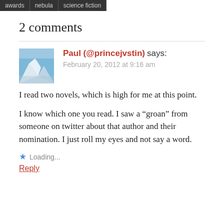awards | nebula | science fiction
2 comments
Paul (@princejvstin) says:
February 20, 2012 at 9:16 am
I read two novels, which is high for me at this point.
I know which one you read. I saw a “groan” from someone on twitter about that author and their nomination. I just roll my eyes and not say a word.
Loading...
Reply